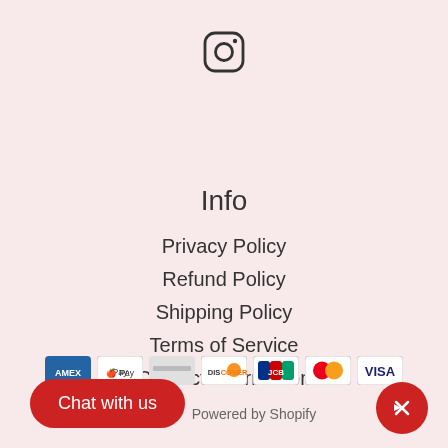[Figure (logo): Instagram icon (camera outline logo) centered at top]
Info
Privacy Policy
Refund Policy
Shipping Policy
Terms of Service
Contact Information
[Figure (logo): Payment method icons: Amex, Apple Pay, generic card, Discover, JCB, Mastercard, Visa]
Chat with us
Powered by Shopify